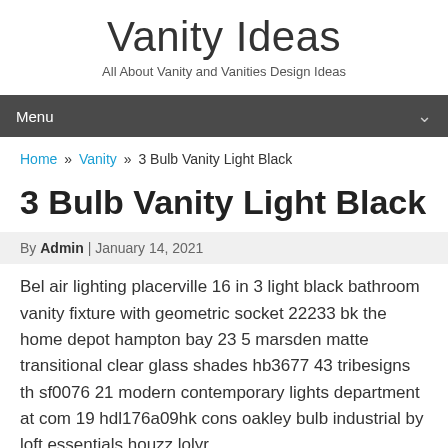Vanity Ideas
All About Vanity and Vanities Design Ideas
Menu
Home » Vanity » 3 Bulb Vanity Light Black
3 Bulb Vanity Light Black
By Admin | January 14, 2021
Bel air lighting placerville 16 in 3 light black bathroom vanity fixture with geometric socket 22233 bk the home depot hampton bay 23 5 marsden matte transitional clear glass shades hb3677 43 tribesigns th sf0076 21 modern contemporary lights department at com 19 hdl176a09hk cons oakley bulb industrial by loft essentials houzz lolyr